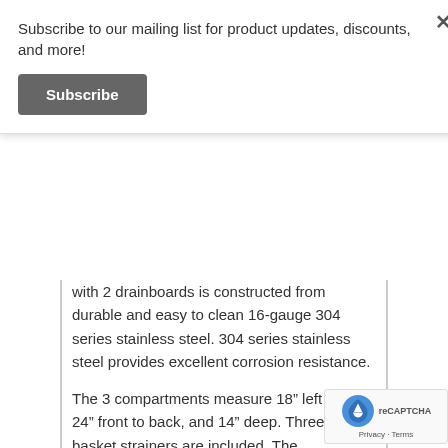Subscribe to our mailing list for product updates, discounts, and more!
Subscribe
with 2 drainboards is constructed from durable and easy to clean 16-gauge 304 series stainless steel. 304 series stainless steel provides excellent corrosion resistance.
The 3 compartments measure 18” left to right, 24” front to back, and 14” deep. Three 3 1/2” basket strainers are included. The drainboards each measure 18” long x 30” wide with placement for a dishwasher on the left hand side.
Our 10” high backsplash with 2” return will help protect your walls. Two 1 1/8” faucet holes are punched on 8” centers (faucet sold separately). 1 1 Ball... The